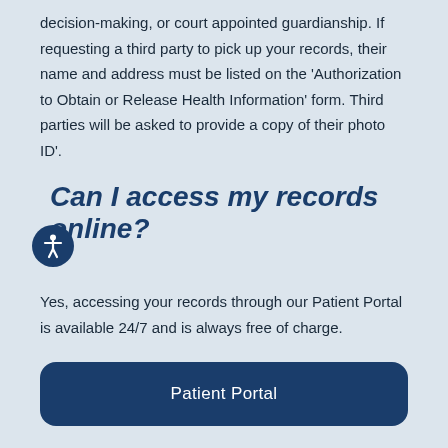decision-making, or court appointed guardianship. If requesting a third party to pick up your records, their name and address must be listed on the ‘Authorization to Obtain or Release Health Information’ form. Third parties will be asked to provide a copy of their photo ID’.
Can I access my records online?
Yes, accessing your records through our Patient Portal is available 24/7 and is always free of charge.
[Figure (other): Button labeled 'Patient Portal' with dark navy rounded rectangle background]
You can also access your medical records through a third party